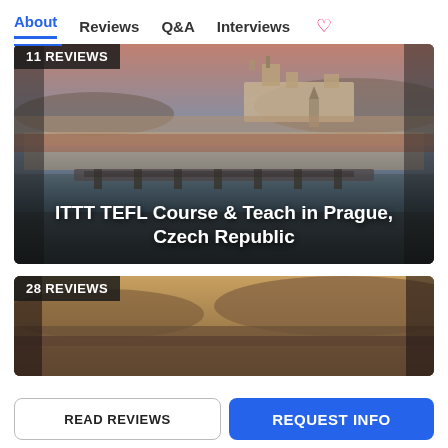About  Reviews  Q&A  Interviews
[Figure (photo): Aerial cityscape of Prague with castle and river, labeled '11 REVIEWS' with overlay title 'ITTT TEFL Course & Teach in Prague, Czech Republic']
[Figure (photo): Aerial cityscape view labeled '28 REVIEWS', partially visible]
READ REVIEWS
REQUEST INFO